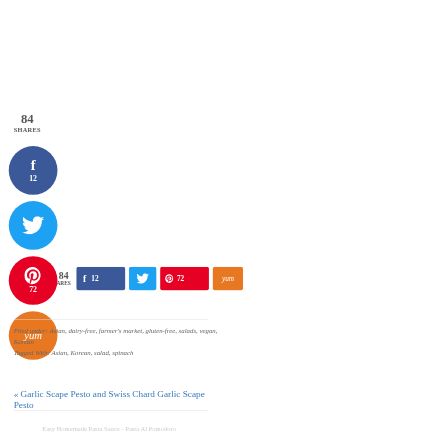84 SHARES
[Figure (infographic): Facebook share circle button (blue) with count 12]
[Figure (infographic): Twitter share circle button (light blue)]
[Figure (infographic): Pinterest share circle button (red) with count 72]
[Figure (infographic): Yummly share circle button (orange)]
[Figure (infographic): Horizontal share bar: 84 SHARES | Facebook 12 | Twitter | Pinterest 72 | Yummly]
Filed under: Asian, dairy-free, farmer's market, gluten-free, salads, vegan, Korean
Tagged With: Asian, Korean, salad, spinach
« Garlic Scape Pesto and Swiss Chard Garlic Scape Pesto
Easy Homemade Pasta Sauce - Pasta Al Pomodoro